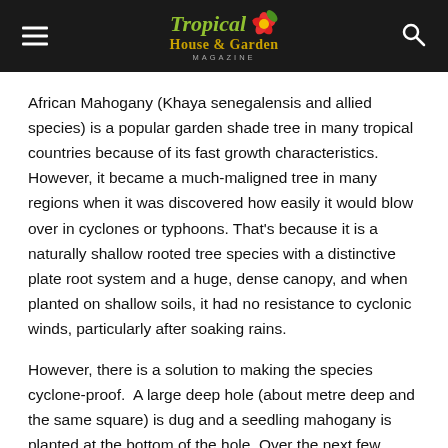Tropical House & Garden Magazine
African Mahogany (Khaya senegalensis and allied species) is a popular garden shade tree in many tropical countries because of its fast growth characteristics. However, it became a much-maligned tree in many regions when it was discovered how easily it would blow over in cyclones or typhoons. That’s because it is a naturally shallow rooted tree species with a distinctive plate root system and a huge, dense canopy, and when planted on shallow soils, it had no resistance to cyclonic winds, particularly after soaking rains.
However, there is a solution to making the species cyclone-proof.  A large deep hole (about metre deep and the same square) is dug and a seedling mahogany is planted at the bottom of the hole. Over the next few years, the hole is